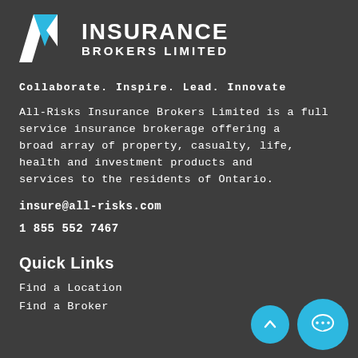[Figure (logo): All-Risks Insurance Brokers Limited logo with geometric A/V shape in white and blue, followed by INSURANCE BROKERS LIMITED in white bold text]
Collaborate. Inspire. Lead. Innovate
All-Risks Insurance Brokers Limited is a full service insurance brokerage offering a broad array of property, casualty, life, health and investment products and services to the residents of Ontario.
insure@all-risks.com
1 855 552 7467
Quick Links
Find a Location
Find a Broker